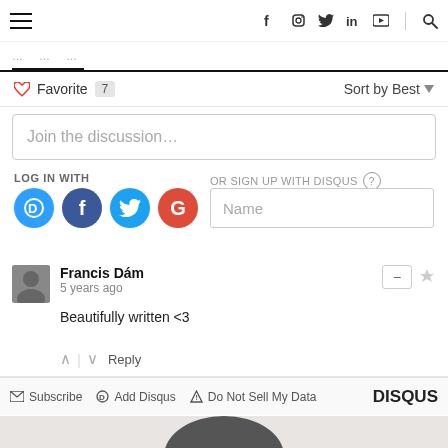Navigation bar with hamburger menu, social icons (Facebook, Instagram, Twitter, LinkedIn, YouTube), and search
Favorite 7   Sort by Best
Join the discussion…
LOG IN WITH
OR SIGN UP WITH DISQUS
Name
Francis Dám
5 years ago
Beautifully written <3
Reply
Subscribe   Add Disqus   Do Not Sell My Data   DISQUS